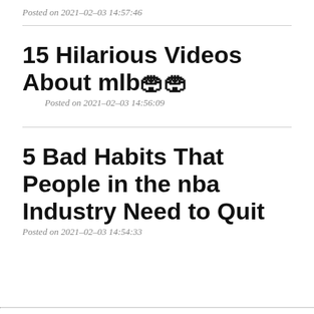Posted on 2021-02-03 14:57:46
15 Hilarious Videos About mlb🏟🏟
Posted on 2021-02-03 14:56:09
5 Bad Habits That People in the nba    Industry Need to Quit
Posted on 2021-02-03 14:54:33